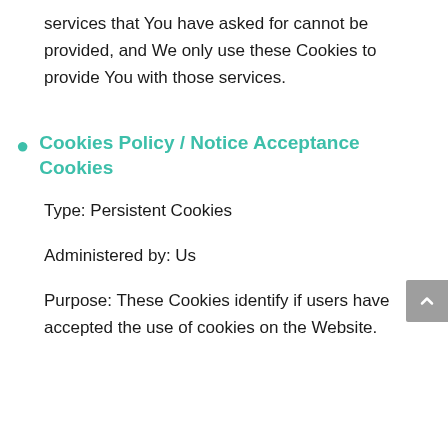services that You have asked for cannot be provided, and We only use these Cookies to provide You with those services.
Cookies Policy / Notice Acceptance Cookies
Type: Persistent Cookies
Administered by: Us
Purpose: These Cookies identify if users have accepted the use of cookies on the Website.